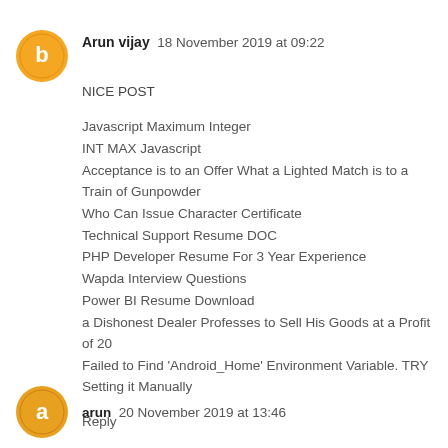[Figure (illustration): Orange circular avatar icon with letter B, for user Arun vijay]
Arun vijay  18 November 2019 at 09:22
NICE POST
Javascript Maximum Integer
INT MAX Javascript
Acceptance is to an Offer What a Lighted Match is to a Train of Gunpowder
Who Can Issue Character Certificate
Technical Support Resume DOC
PHP Developer Resume For 3 Year Experience
Wapda Interview Questions
Power BI Resume Download
a Dishonest Dealer Professes to Sell His Goods at a Profit of 20
Failed to Find 'Android_Home' Environment Variable. TRY Setting it Manually
Reply
[Figure (illustration): Orange/amber circular avatar icon for user arun]
arun  20 November 2019 at 13:46